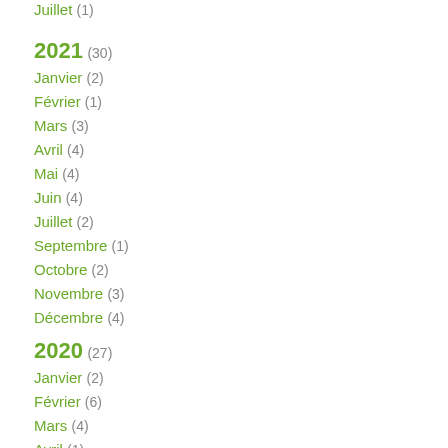Juillet (1)
2021 (30)
Janvier (2)
Février (1)
Mars (3)
Avril (4)
Mai (4)
Juin (4)
Juillet (2)
Septembre (1)
Octobre (2)
Novembre (3)
Décembre (4)
2020 (27)
Janvier (2)
Février (6)
Mars (4)
Avril (1)